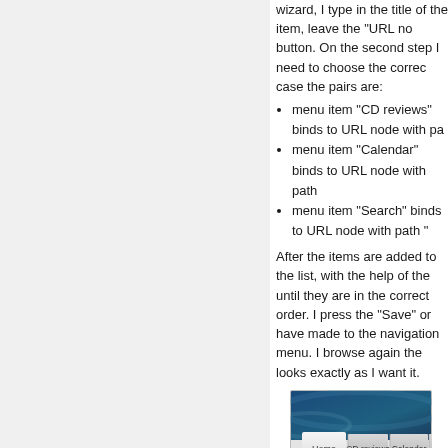wizard, I type in the title of the item, leave the "URL node" button. On the second step I need to choose the correct node, in case the pairs are:
menu item "CD reviews" binds to URL node with pa...
menu item "Calendar" binds to URL node with path...
menu item "Search" binds to URL node with path "...
After the items are added to the list, with the help of the... until they are in the correct order. I press the "Save" or... have made to the navigation menu. I browse again the... looks exactly as I want it.
[Figure (screenshot): Screenshot of a navigation menu bar showing tabs: Home, CD reviews, Calendar, Top M...]
If I visit the public site as a not logged guest, the "Admi... that the preset visibility attributes for this menu item are... items. All works fine.
Secondary navigation - Categories
To create the category based secondary navigation I ha...
to create new navigation menu component and p...